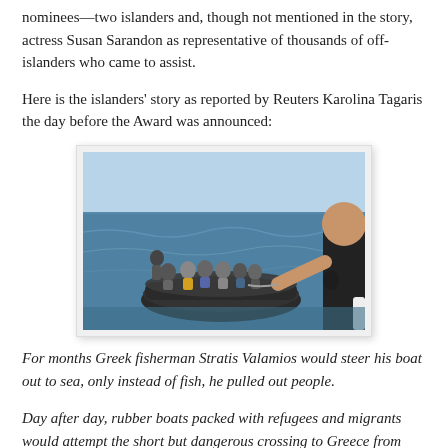nominees—two islanders and, though not mentioned in the story, actress Susan Sarandon as representative of thousands of off-islanders who came to assist.
Here is the islanders' story as reported by Reuters Karolina Tagaris the day before the Award was announced:
[Figure (photo): Photo of a rubber dinghy packed with refugees and migrants on the sea, with a person in a black t-shirt visible on the right side of the frame reaching out toward the boat.]
For months Greek fisherman Stratis Valamios would steer his boat out to sea, only instead of fish, he pulled out people.
Day after day, rubber boats packed with refugees and migrants would attempt the short but dangerous crossing to Greece from Turkey, even as winter set in and the seas turned rough and winds grew violent.